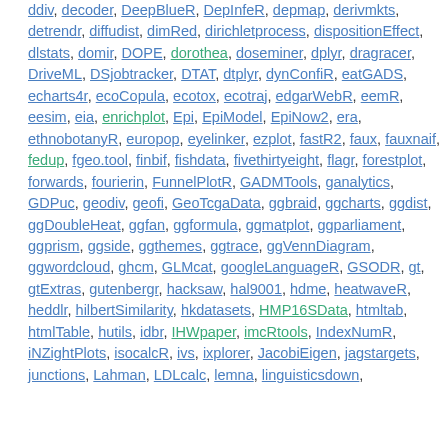ddiv, decoder, DeepBlueR, DepInfeR, depmap, derivmkts, detrendr, diffudist, dimRed, dirichletprocess, dispositionEffect, dlstats, domir, DOPE, dorothea, doseminer, dplyr, dragracer, DriveML, DSjobtracker, DTAT, dtplyr, dynConfiR, eatGADS, echarts4r, ecoCopula, ecotox, ecotraj, edgarWebR, eemR, eesim, eia, enrichplot, Epi, EpiModel, EpiNow2, era, ethnobotanyR, europop, eyelinker, ezplot, fastR2, faux, fauxnaif, fedup, fgeo.tool, finbif, fishdata, fivethirtyeight, flagr, forestplot, forwards, fourierin, FunnelPlotR, GADMTools, ganalytics, GDPuc, geodiv, geofi, GeoTcgaData, ggbraid, ggcharts, ggdist, ggDoubleHeat, ggfan, ggformula, ggmatplot, ggparliament, ggprism, ggside, ggthemes, ggtrace, ggVennDiagram, ggwordcloud, ghcm, GLMcat, googleLanguageR, GSODR, gt, gtExtras, gutenbergr, hacksaw, hal9001, hdme, heatwaveR, heddlr, hilbertSimilarity, hkdatasets, HMP16SData, htmltab, htmlTable, hutils, idbr, IHWpaper, imcRtools, IndexNumR, iNZightPlots, isocalcR, ivs, ixplorer, JacobiEigen, jagstargets, junctions, Lahman, LDLcalc, lemna, linguisticsdown,